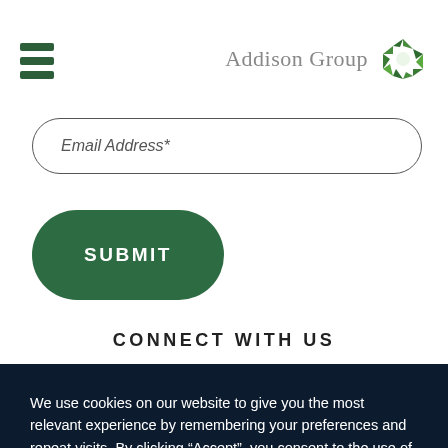Addison Group
Email Address*
SUBMIT
CONNECT WITH US
We use cookies on our website to give you the most relevant experience by remembering your preferences and repeat visits. By clicking “Accept”, you consent to the use of ALL the cookies. Terms & Conditions.
Accept